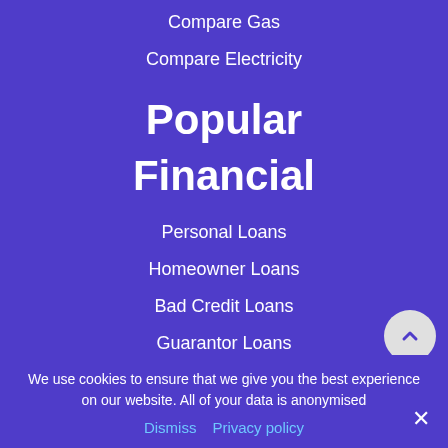Compare Gas
Compare Electricity
Popular Financial
Personal Loans
Homeowner Loans
Bad Credit Loans
Guarantor Loans
Popular Business
We use cookies to ensure that we give you the best experience on our website. All of your data is anonymised
Dismiss  Privacy policy